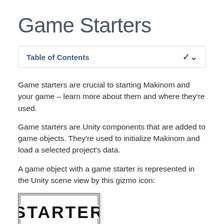Game Starters
Table of Contents
Game starters are crucial to starting Makinom and your game – learn more about them and where they're used.
Game starters are Unity components that are added to game objects. They're used to initialize Makinom and load a selected project's data.
A game object with a game starter is represented in the Unity scene view by this gizmo icon:
[Figure (illustration): A white rectangular box with a thick border and drop shadow containing the word STARTER in large bold black text with a white stroke outline.]